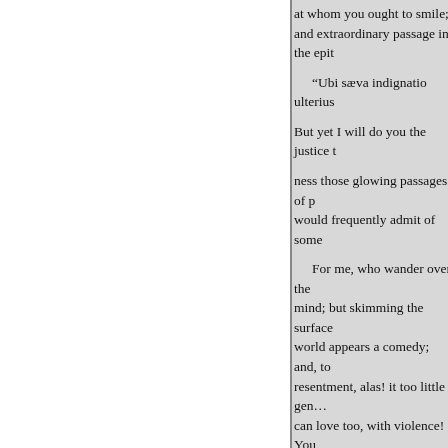at whom you ought to smile; and extraordinary passage in the epit
“Ubi sæva indignatio ulterius
But yet I will do you the justice t
ness those glowing passages of p would frequently admit of some
For me, who wander over the mind; but skimming the surface world appears a comedy; and, to resentment, alas! it too little gene can love too, with violence! You
"A generous friendship no cold m
HARRY RANDOM, with all his knows not these gratifying extre
Look, however, around you or brother authors, and observe how would learn to treat your subject ideas, which generates ease and (